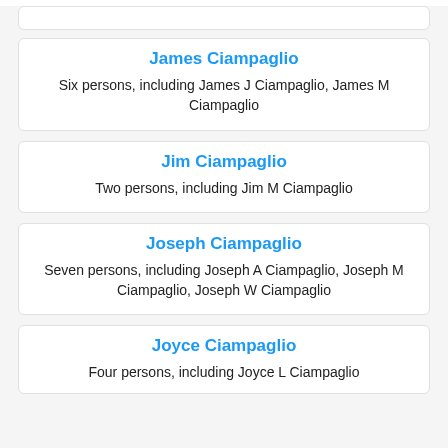James Ciampaglio — Six persons, including James J Ciampaglio, James M Ciampaglio
Jim Ciampaglio — Two persons, including Jim M Ciampaglio
Joseph Ciampaglio — Seven persons, including Joseph A Ciampaglio, Joseph M Ciampaglio, Joseph W Ciampaglio
Joyce Ciampaglio — Four persons, including Joyce L Ciampaglio